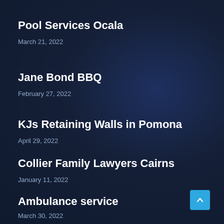Pool Services Ocala
March 21, 2022
Jane Bond BBQ
February 27, 2022
KJs Retaining Walls in Pomona
April 29, 2022
Collier Family Lawyers Cairns
January 11, 2022
Ambulance service
March 30, 2022